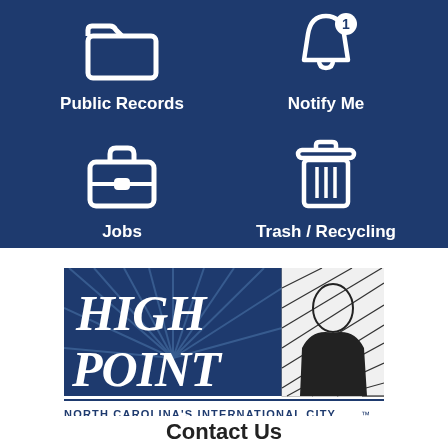[Figure (infographic): Dark blue background with four navigation icons in two rows: Public Records (folder icon), Notify Me (bell icon with number 1), Jobs (briefcase icon), Trash / Recycling (trash can icon)]
[Figure (logo): High Point North Carolina city logo with text HIGH POINT and tagline NORTH CAROLINA'S INTERNATIONAL CITY with globe graphic]
Contact Us